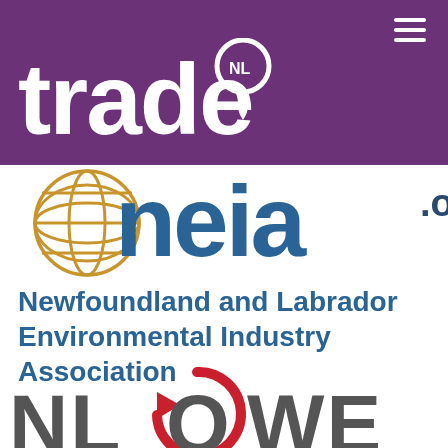[Figure (logo): tradeNL logo: white bold text 'trade' with a pin/location marker containing 'NL' in a circle, on purple background]
[Figure (logo): nleia.org logo: golden globe/grid sphere icon followed by 'neia' text in teal/dark blue with '.org' in dark blue, partially cropped]
Newfoundland and Labrador Environmental Industry Association
[Figure (logo): NLOWE logo: large dark grey letters 'NLOWE' with a red circular arrow/swoosh forming the 'O', partially cropped at bottom]